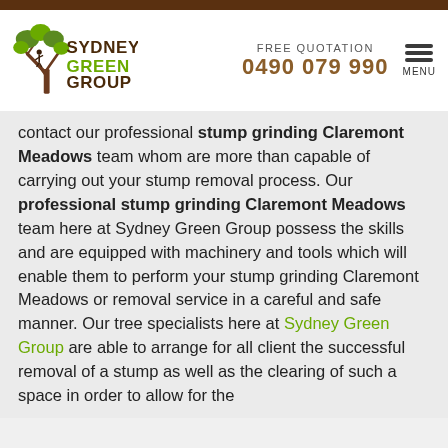[Figure (logo): Sydney Green Group logo with tree illustration and brown/green text]
FREE QUOTATION
0490 079 990
MENU
contact our professional stump grinding Claremont Meadows team whom are more than capable of carrying out your stump removal process. Our professional stump grinding Claremont Meadows team here at Sydney Green Group possess the skills and are equipped with machinery and tools which will enable them to perform your stump grinding Claremont Meadows or removal service in a careful and safe manner. Our tree specialists here at Sydney Green Group are able to arrange for all client the successful removal of a stump as well as the clearing of such a space in order to allow for the